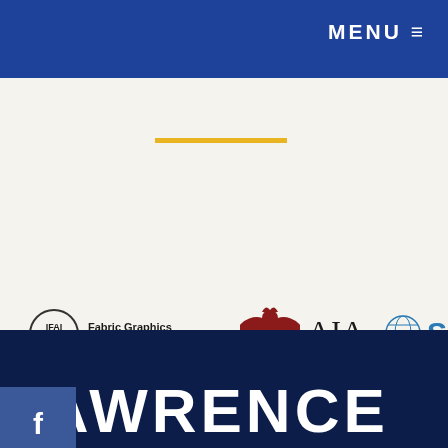MENU ≡
[Figure (logo): IFAI Fabric Graphics Association logo]
[Figure (logo): AIA logo with red eagle emblem]
[Figure (logo): SGIA logo with globe icon in blue]
[Figure (logo): Facebook social media button (blue)]
[Figure (logo): YouTube social media button (red)]
[Figure (logo): LinkedIn social media button (blue)]
LAWRENCE